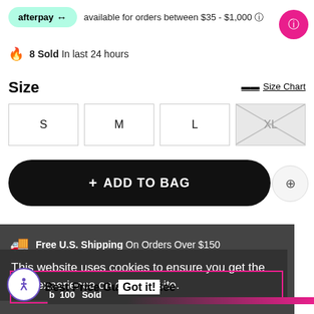[Figure (screenshot): Afterpay logo badge with teal background and payment range text]
available for orders between $35 - $1,000 ⓘ
🔥 8 Sold In last 24 hours
Size
📏 Size Chart
S  M  L  XL
+ ADD TO BAG
Free U.S. Shipping On Orders Over $150
This website uses cookies to ensure you get the best experience on our website.
Best Price Guarantee  Got it!
100 Sold